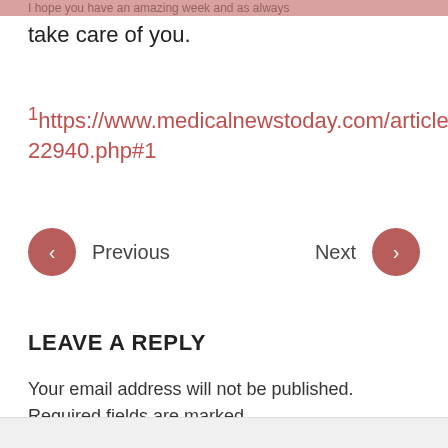I hope you have an amazing week and as always
take care of you.
1https://www.medicalnewstoday.com/articles/322940.php#1
Previous   Next
LEAVE A REPLY
Your email address will not be published. Required fields are marked